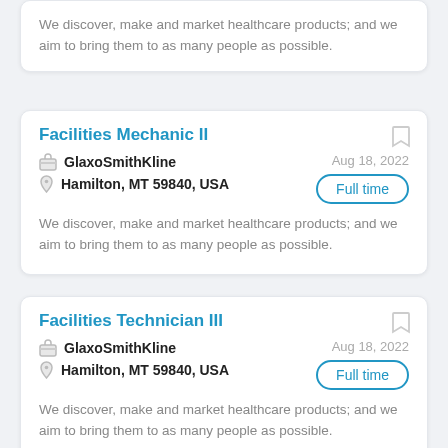We discover, make and market healthcare products; and we aim to bring them to as many people as possible.
Facilities Mechanic II
GlaxoSmithKline
Hamilton, MT 59840, USA
Aug 18, 2022
Full time
We discover, make and market healthcare products; and we aim to bring them to as many people as possible.
Facilities Technician III
GlaxoSmithKline
Hamilton, MT 59840, USA
Aug 18, 2022
Full time
We discover, make and market healthcare products; and we aim to bring them to as many people as possible.